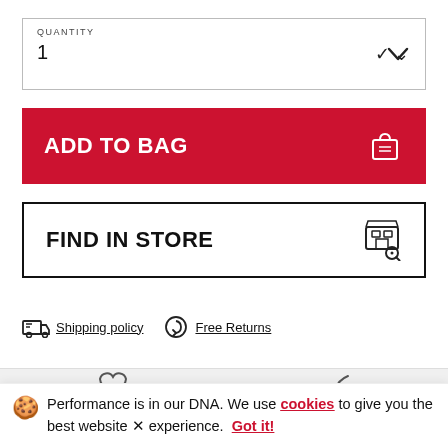QUANTITY
1
ADD TO BAG
FIND IN STORE
Shipping policy
Free Returns
Performance is in our DNA. We use cookies to give you the best website experience. Got it!